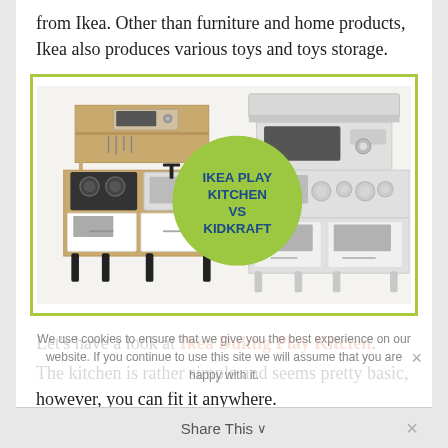from Ikea. Other than furniture and home products, Ikea also produces various toys and toys storage.
[Figure (photo): Side-by-side comparison photo of two play kitchens: an IKEA Duktig play kitchen (left, wooden/white) and a KidKraft play kitchen (right, white/grey), with a green circle badge in the middle reading 'IKEA PLAY KITCHEN VS KIDKRAFT']
Let's have a look at Ikea Duktig Play Kitcten.
The kitchen is rather simple and seems pretty basic, however, you can fit it anywhere.